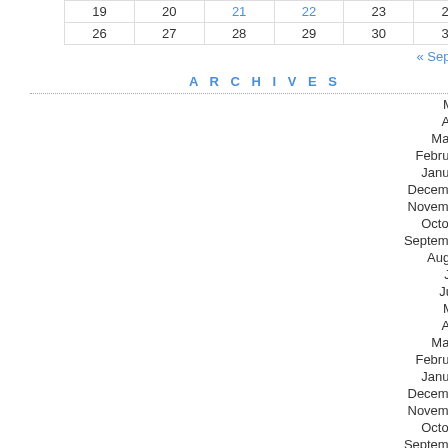| 19 | 20 | 21 | 22 | 23 | 24 | 25 |
| 26 | 27 | 28 | 29 | 30 | 31 |  |
« Sep   Nov »
ARCHIVES
May 2011
April 2011
March 2011
February 2011
January 2011
December 2010
November 2010
October 2010
September 2010
August 2010
July 2010
June 2010
May 2010
April 2010
March 2010
February 2010
January 2010
December 2009
November 2009
October 2009
September 2009
August 2009
UBC has joined SPARC (Scholarly Publishing and Academic Resources Coalition) Open Access Scholarly Information Sources and Partnerships, joining universities worldwide in the First International Open Access Week, to help unlock the locked doors that once hid knowledge and hamper the advancement of science and society. Open Access is the new revolution that is gaining momentum around the world as researchers, policymakers and citizens. To help us celebrate this event we are proud to be part of the open access movement.
For more details, please see the Open ...
The Univer...
Posted in Uncategorized | No Comments »
Interlibrary Loan articles now del...
October 21st, 2009 by Yvonne Chan | No Comments »
U... h...
[Figure (illustration): Decorative image with @ symbol and colorful shapes in teal, yellow, and purple]